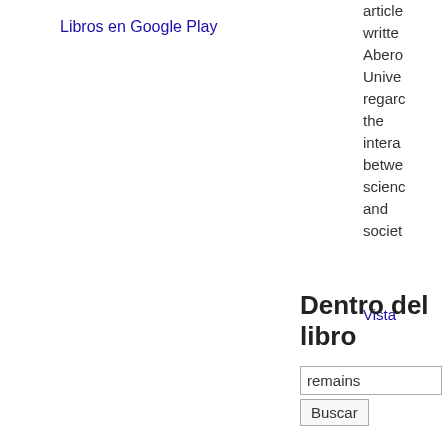Libros en Google Play
articles written Aberod Unive regard the intera betwe scienc and societ
Vista
Dentro del libro
remains
Buscar
Resultados 1-5 de 20
Página 10
It alone remains sterile , whilst all around , in the